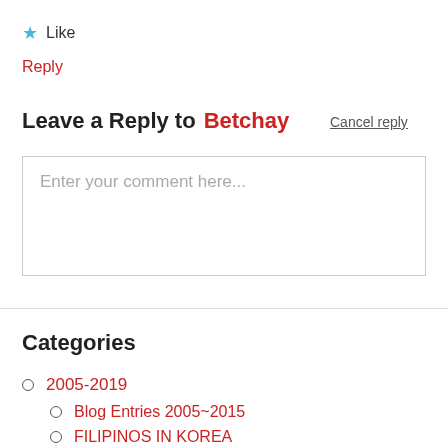★ Like
Reply
Leave a Reply to Betchay   Cancel reply
Enter your comment here...
Categories
2005-2019
Blog Entries 2005~2015
FILIPINOS IN KOREA